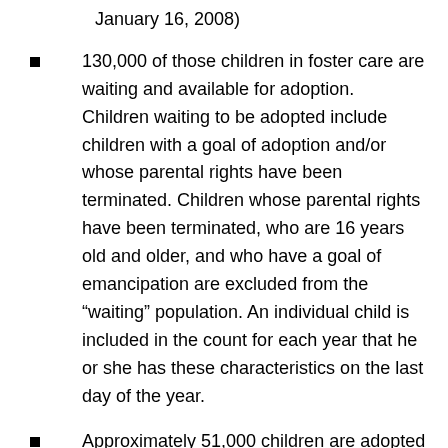January 16, 2008)
130,000 of those children in foster care are waiting and available for adoption. Children waiting to be adopted include children with a goal of adoption and/or whose parental rights have been terminated. Children whose parental rights have been terminated, who are 16 years old and older, and who have a goal of emancipation are excluded from the “waiting” population. An individual child is included in the count for each year that he or she has these characteristics on the last day of the year.
Approximately 51,000 children are adopted from the foster system each year.
That leaves 79,000 children annually in the US